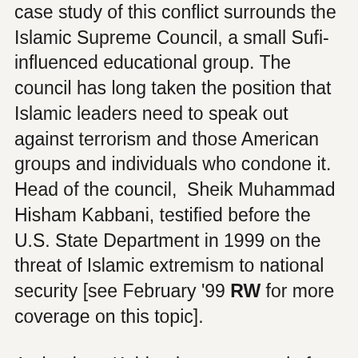case study of this conflict surrounds the Islamic Supreme Council, a small Sufi-influenced educational group. The council has long taken the position that Islamic leaders need to speak out against terrorism and those American groups and individuals who condone it. Head of the council, Sheik Muhammad Hisham Kabbani, testified before the U.S. State Department in 1999 on the threat of Islamic extremism to national security [see February '99 RW for more coverage on this topic].
At the time, Kabbani even warned of thousands of "suicide bombers being trained by Bin Laden in Afghanistan who are ready to move to any part of the world and explode themselves." The overwhelming response of American Islamic leaders and groups, such as